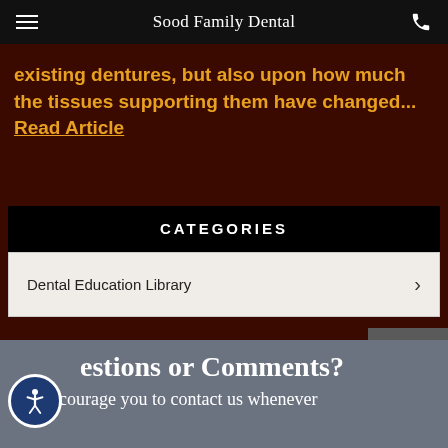Sood Family Dental
existing dentures, but also upon how much the tissues supporting them have changed... Read Article
CATEGORIES
Dental Education Library
estions or Comments?
We encourage you to contact us whenever